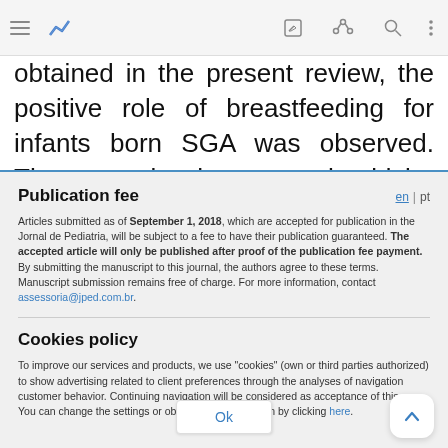[Figure (screenshot): Browser toolbar with hamburger menu icon, app icon (blue chart), edit icon, share icon, search icon, and overflow menu icon]
obtained in the present review, the positive role of breastfeeding for infants born SGA was observed. These results, however, should be interpreted with
Publication fee
Articles submitted as of September 1, 2018, which are accepted for publication in the Jornal de Pediatria, will be subject to a fee to have their publication guaranteed. The accepted article will only be published after proof of the publication fee payment. By submitting the manuscript to this journal, the authors agree to these terms. Manuscript submission remains free of charge. For more information, contact assessoria@jped.com.br.
Cookies policy
To improve our services and products, we use "cookies" (own or third parties authorized) to show advertising related to client preferences through the analyses of navigation customer behavior. Continuing navigation will be considered as acceptance of this use. You can change the settings or obtain more information by clicking here.